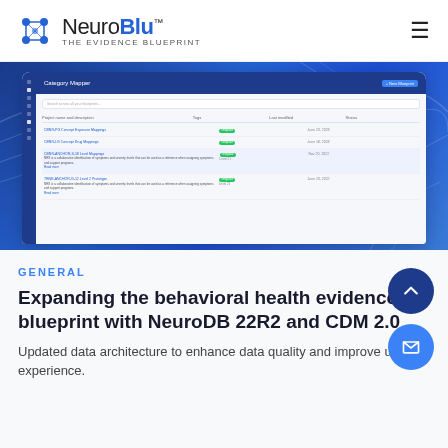[Figure (logo): NeuroBlu logo with network icon and tagline THE EVIDENCE BLUEPRINT]
[Figure (screenshot): Screenshot of NeuroBlu Category Mapper interface showing a table with template rows including CBNR and similar entries on a blue gradient background displayed on a tablet device]
GENERAL
Expanding the behavioral health evidence blueprint with NeuroDB 22R2 and CDM 2.0
Updated data architecture to enhance data quality and improve user experience.